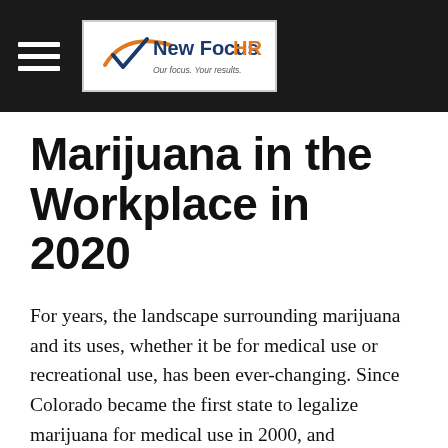New Focus HR — Our focus. Your results.
Marijuana in the Workplace in 2020
For years, the landscape surrounding marijuana and its uses, whether it be for medical use or recreational use, has been ever-changing. Since Colorado became the first state to legalize marijuana for medical use in 2000, and ultimately leading the charge in legalizing marijuana for recreational use in 2012, a total of 33 states and Washington D.C. have followed suit and have legalized marijuana for medical use and 11 states and Washington D.C. have legalized marijuana for